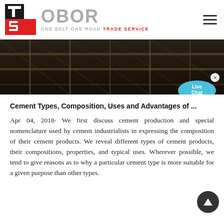[Figure (logo): OBOR Trade Service logo with red and black TS icon and grey OBOR text. Tagline: ONE BELT ONE ROAD TRADE SERVICE]
[Figure (photo): Industrial/construction scene showing metal scaffolding or rebar structures in a dark warehouse setting]
Cement Types, Composition, Uses and Advantages of ...
Apr 04, 2018· We first discuss cement production and special nomenclature used by cement industrialists in expressing the composition of their cement products. We reveal different types of cement products, their compositions, properties, and typical uses. Wherever possible, we tend to give reasons as to why a particular cement type is more suitable for a given purpose than other types.